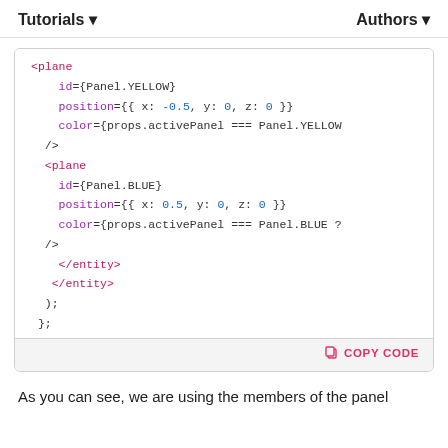Tutorials ▾    Authors ▾
[Figure (screenshot): Code block showing JSX with two <plane> elements, one with Panel.YELLOW and one with Panel.BLUE, inside </entity> tags and a closing );}. Has a COPY CODE button.]
As you can see, we are using the members of the panel